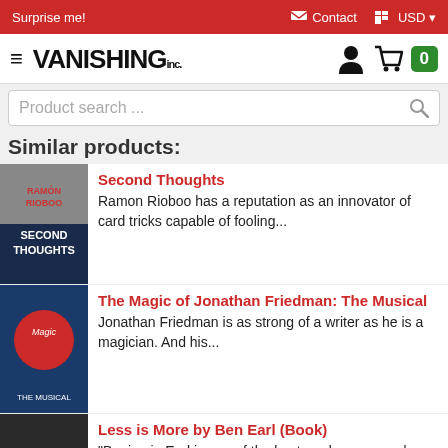Surprise me! | Contact | USD
[Figure (logo): Vanishing Inc. logo with hamburger menu, person icon, cart icon with 0 badge]
Product search ...
Similar products:
[Figure (photo): Book cover: Second Thoughts by Ramon Rioboo]
Second Thoughts
Ramon Rioboo has a reputation as an innovator of card tricks capable of fooling...
[Figure (photo): Book cover: The Magic of Jonathan Friedman: The Musical]
The Magic of Jonathan Friedman: The Musical
Jonathan Friedman is as strong of a writer as he is a magician. And his...
[Figure (photo): Book cover: Less is More by Ben Earl (Book) with <IS> logo]
Less is More by Ben Earl (Book)
"Benjamin Earl is one of the best cardmen around today. Less is More, is...